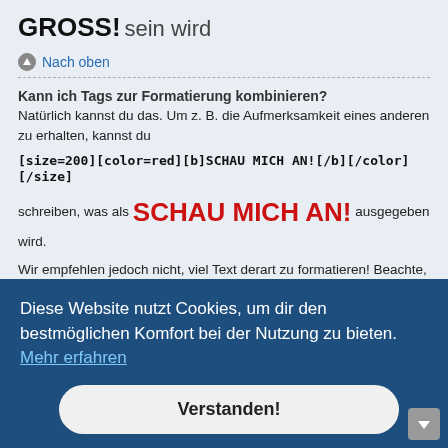GROSS! sein wird
Nach oben
Kann ich Tags zur Formatierung kombinieren?
Natürlich kannst du das. Um z. B. die Aufmerksamkeit eines anderen zu erhalten, kannst du
[size=200][color=red][b]SCHAU MICH AN![/b][/color][/size]
schreiben, was als SCHAU MICH AN! ausgegeben wird.
Wir empfehlen jedoch nicht, viel Text derart zu formatieren! Beachte, dass du als ... en. Zum
Diese Website nutzt Cookies, um dir den bestmöglichen Komfort bei der Nutzung zu bieten.  Mehr erfahren
Verstanden!
Es gibt zwei Arten, Text zu zitieren: mit Quelle und ohne.